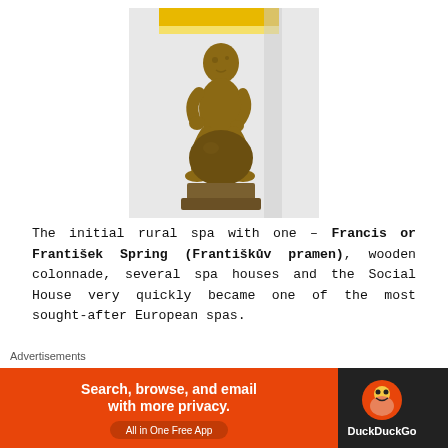[Figure (photo): Bronze statue of a child sitting on a round ball/sphere, displayed indoors with yellow banner visible at top]
The initial rural spa with one – Francis or František Spring (Františkův pramen), wooden colonnade, several spa houses and the Social House very quickly became one of the most sought-after European spas.
Francis Spring is the oldest local spring. It has been known since the
Advertisements
[Figure (infographic): DuckDuckGo advertisement banner: orange section with text 'Search, browse, and email with more privacy. All in One Free App' and black section with DuckDuckGo duck logo]